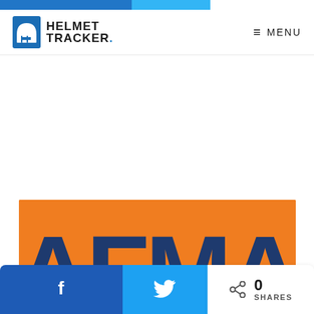[Figure (logo): Helmet Tracker logo with helmet icon and bold text HELMET TRACKER]
≡ MENU
[Figure (logo): AFMA logo on orange background with large dark blue letters AFMA]
[Figure (infographic): Social share bar with Facebook button, Twitter button, share icon, 0 count and SHARES label]